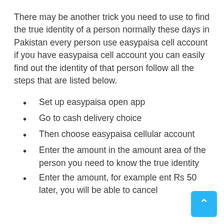There may be another trick you need to use to find the true identity of a person normally these days in Pakistan every person use easypaisa cell account if you have easypaisa cell account you can easily find out the identity of that person follow all the steps that are listed below.
Set up easypaisa open app
Go to cash delivery choice
Then choose easypaisa cellular account
Enter the amount in the amount area of the person you need to know the true identity
Enter the amount, for example ent Rs 50 later, you will be able to cancel